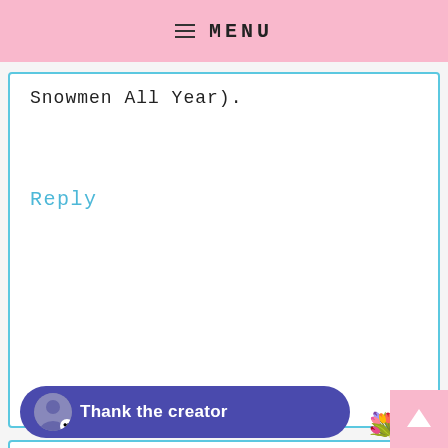MENU
Snowmen All Year).
Reply
Laurie J. says
March 19, 2013 at 8:21 PM
I foll...
http://pinterest.com/lauriej1979/
[Figure (infographic): Thank the creator button overlay with user avatar and heart icon, surrounded by emoji images of flowers and gift boxes]